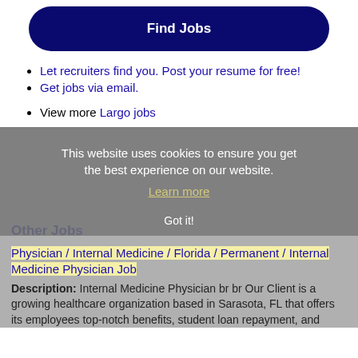Find Jobs
Let recruiters find you. Post your resume for free!
Get jobs via email.
View more Largo jobs
This website uses cookies to ensure you get the best experience on our website.
Learn more
Other Jobs
Physician / Internal Medicine / Florida / Permanent / Internal Medicine Physician Job
Description: Internal Medicine Physician br br Our Client is a growing healthcare organization based in Sarasota, FL that offers its employees top-notch benefits, student loan repayment, and